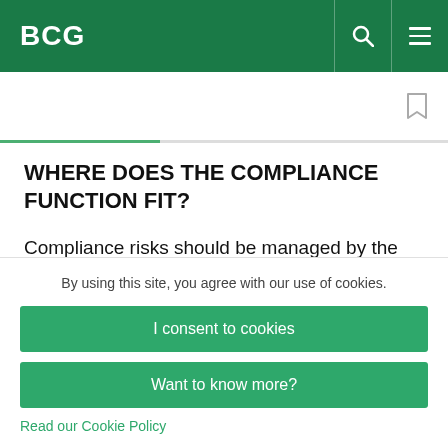BCG
WHERE DOES THE COMPLIANCE FUNCTION FIT?
Compliance risks should be managed by the part of the organization that takes the risks. What’s more, that management is inherently ineffective without
By using this site, you agree with our use of cookies.
I consent to cookies
Want to know more?
Read our Cookie Policy